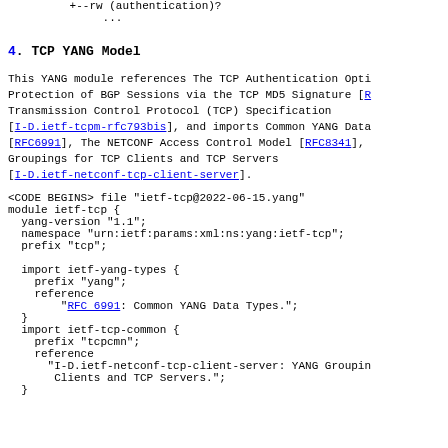+--rw (authentication)?
         ...
4.  TCP YANG Model
This YANG module references The TCP Authentication Option, Protection of BGP Sessions via the TCP MD5 Signature [R..., Transmission Control Protocol (TCP) Specification [I-D.ietf-tcpm-rfc793bis], and imports Common YANG Data [RFC6991], The NETCONF Access Control Model [RFC8341], Groupings for TCP Clients and TCP Servers [I-D.ietf-netconf-tcp-client-server].
<CODE BEGINS> file "ietf-tcp@2022-06-15.yang"
module ietf-tcp {
  yang-version "1.1";
  namespace "urn:ietf:params:xml:ns:yang:ietf-tcp";
  prefix "tcp";

  import ietf-yang-types {
    prefix "yang";
    reference
        "RFC 6991: Common YANG Data Types.";
  }
  import ietf-tcp-common {
    prefix "tcpcmn";
    reference
      "I-D.ietf-netconf-tcp-client-server: YANG Groupings for TCP Clients and TCP Servers.";
  }